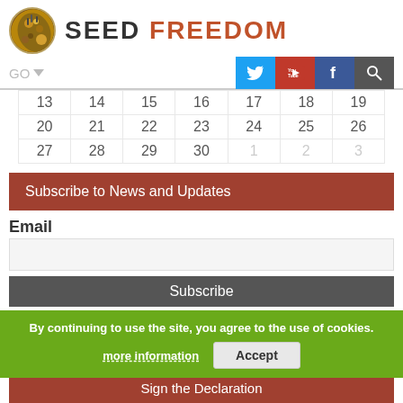[Figure (logo): Seed Freedom logo with circular seed image and brand name SEED FREEDOM]
[Figure (screenshot): Navigation bar with GO dropdown and social media icons for Twitter, YouTube, Facebook, and Search]
| 13 | 14 | 15 | 16 | 17 | 18 | 19 |
| 20 | 21 | 22 | 23 | 24 | 25 | 26 |
| 27 | 28 | 29 | 30 | 1 | 2 | 3 |
Subscribe to News and Updates
Email
Subscribe
By continuing to use the site, you agree to the use of cookies.
more information
Accept
Sign the Declaration